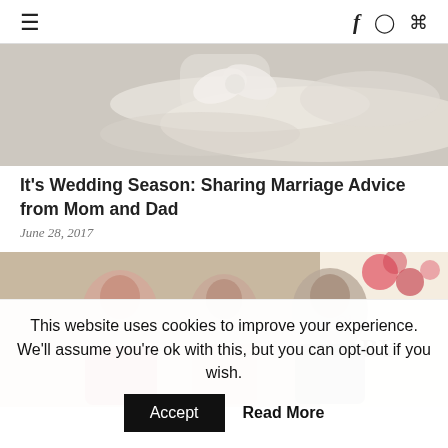≡  f  ⊙  ℗
[Figure (photo): Photo of white bridal/wedding shoes on a surface, partially cropped at top]
It's Wedding Season: Sharing Marriage Advice from Mom and Dad
June 28, 2017
[Figure (photo): Three women posing together in front of a floral banner reading 'Oh BABY']
This website uses cookies to improve your experience. We'll assume you're ok with this, but you can opt-out if you wish.  Accept  Read More